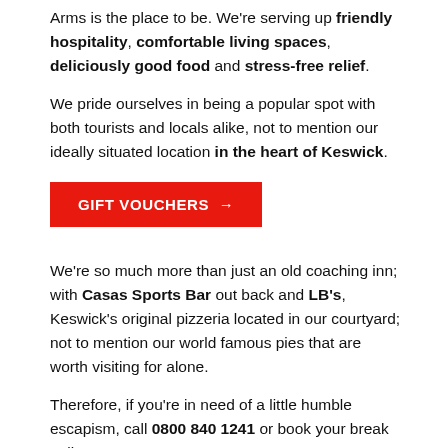Arms is the place to be. We're serving up friendly hospitality, comfortable living spaces, deliciously good food and stress-free relief.
We pride ourselves in being a popular spot with both tourists and locals alike, not to mention our ideally situated location in the heart of Keswick.
GIFT VOUCHERS →
We're so much more than just an old coaching inn; with Casas Sports Bar out back and LB's, Keswick's original pizzeria located in our courtyard; not to mention our world famous pies that are worth visiting for alone.
Therefore, if you're in need of a little humble escapism, call 0800 840 1241 or book your break online now.
BOOK NOW →